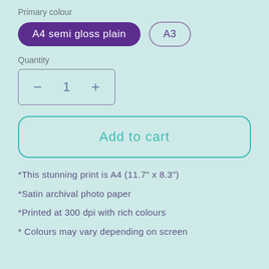Primary colour
[Figure (screenshot): Two pill-shaped option buttons: one selected dark purple button labeled 'A4 semi gloss plain' and one outline pill button labeled 'A3']
Quantity
[Figure (other): Quantity selector box with minus button, value '1', and plus button]
[Figure (other): Add to cart button with teal/turquoise border and text]
*This stunning print is A4 (11.7" x 8.3")
*Satin archival photo paper
*Printed at 300 dpi with rich colours
* Colours may vary depending on screen